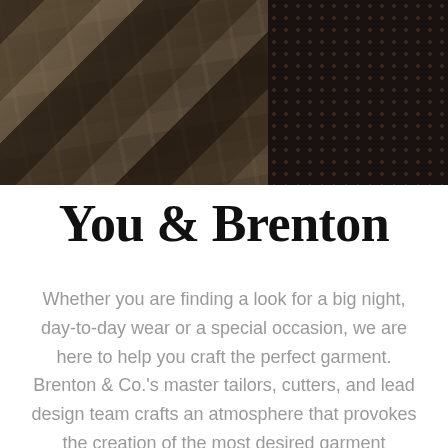[Figure (photo): Close-up photograph of dark textured leather or fabric materials with diagonal stripe patterns and a studded/dotted surface on the right side, in dark brown and charcoal tones]
You & Brenton
Whether you are finding a look for a big night, day-to-day wear or a special occasion, we are here to help you craft the perfect garment. Brenton & Co.'s master tailors, cutters, and lead design team crafts an atmosphere that provokes the creation of the most desired garment